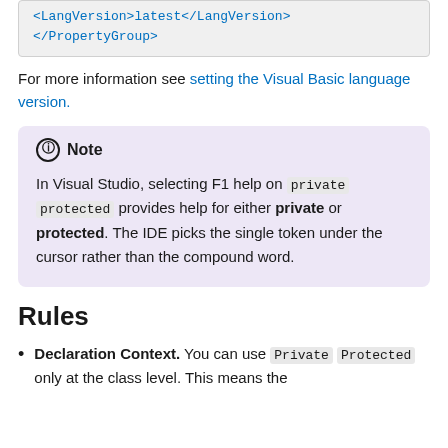<LangVersion>latest</LangVersion>
</PropertyGroup>
For more information see setting the Visual Basic language version.
Note
In Visual Studio, selecting F1 help on private protected provides help for either private or protected. The IDE picks the single token under the cursor rather than the compound word.
Rules
Declaration Context. You can use Private Protected only at the class level. This means the